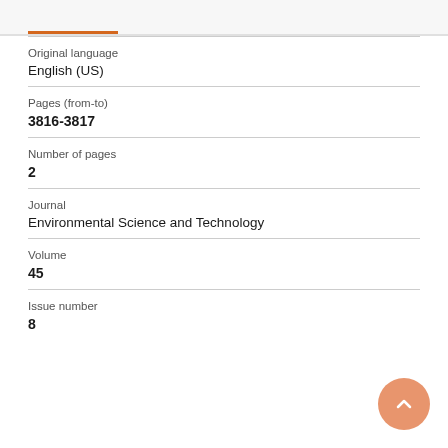Original language
English (US)
Pages (from-to)
3816-3817
Number of pages
2
Journal
Environmental Science and Technology
Volume
45
Issue number
8